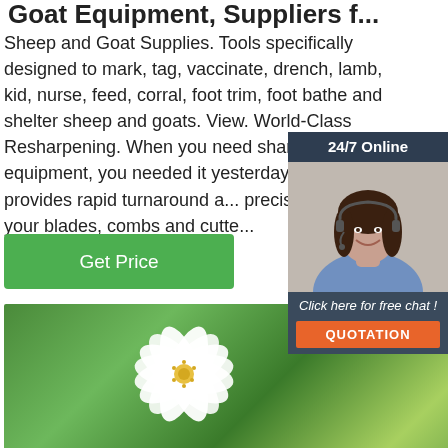Goat Equipment, Suppliers f...
Sheep and Goat Supplies. Tools specifically designed to mark, tag, vaccinate, drench, lamb, kid, nurse, feed, corral, foot trim, foot bathe and shelter sheep and goats. View. World-Class Resharpening. When you need sharp equipment, you needed it yesterday! Premier provides rapid turnaround a... precision finish on your blades, combs and cutte...
[Figure (other): Green button labeled 'Get Price']
[Figure (photo): Close-up photograph of a white flower with yellow stamens among green leaves]
[Figure (other): 24/7 Online chat widget overlay with a female customer service agent wearing a headset, with 'Click here for free chat!' text and an orange QUOTATION button]